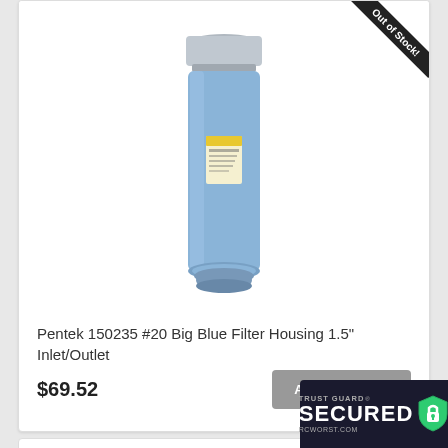[Figure (photo): Pentek Big Blue water filter housing - tall cylindrical blue filter with silver metal cap/head, yellow label on front, standing upright. Has an 'Out of Stock!' ribbon banner in top-right corner.]
Pentek 150235 #20 Big Blue Filter Housing 1.5" Inlet/Outlet
$69.52
ADD TO CART
[Figure (logo): Trust Guard Secured badge - dark background with shield icon and padlock, text reads TRUST GUARD SECURED RCWORST.COM]